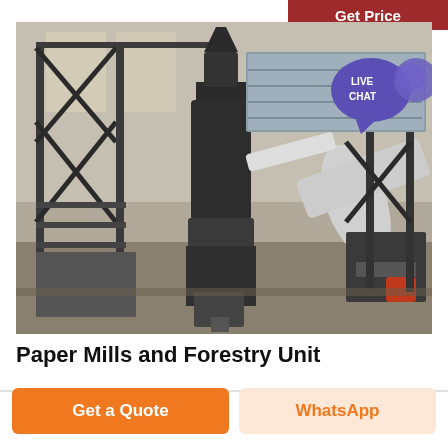Get Price
[Figure (photo): Industrial paper mill / forestry unit machinery inside a large warehouse. Shows a large vertical grinding mill in the center, metal scaffolding on the left, a large white cylindrical drum/dryer on the right, and various conveyors, supports and equipment. A 'LIVE CHAT' speech bubble overlay is in the upper right corner of the photo.]
Paper Mills and Forestry Unit
Get a Quote
WhatsApp